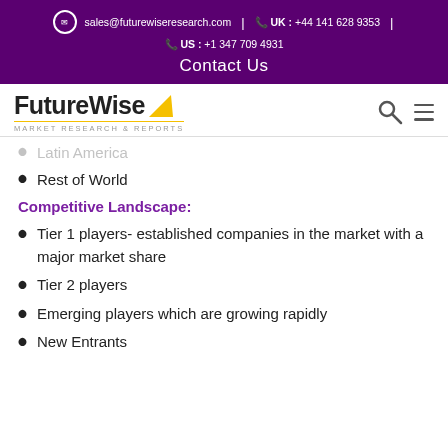sales@futurewiseresearch.com | UK : +44 141 628 9353 | US : +1 347 709 4931 | Contact Us
[Figure (logo): FutureWise Market Research & Reports logo with yellow arrow and search icon]
Latin America
Rest of World
Competitive Landscape:
Tier 1 players- established companies in the market with a major market share
Tier 2 players
Emerging players which are growing rapidly
New Entrants